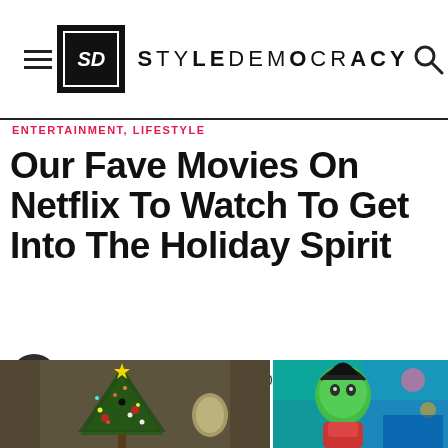STYLEDEMOCRACY
ENTERTAINMENT, LIFESTYLE
Our Fave Movies On Netflix To Watch To Get Into The Holiday Spirit
By StyleDemocracy, Dec 14th 2021
[Figure (photo): Two images side by side: left shows a decorated Christmas tree with lights and ornaments in a room; right shows a colorful animated character scene with green and blue tones.]